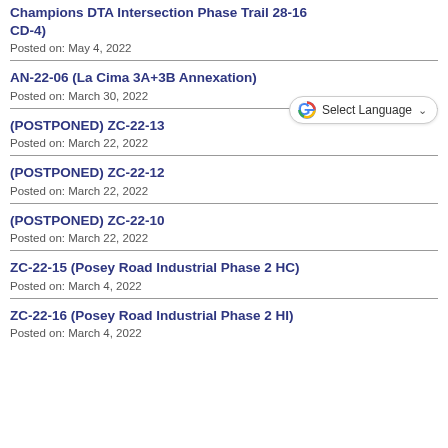Champions DTA Intersection Phase Trail 28-16 CD-4)
Posted on: May 4, 2022
AN-22-06 (La Cima 3A+3B Annexation)
Posted on: March 30, 2022
(POSTPONED) ZC-22-13
Posted on: March 22, 2022
(POSTPONED) ZC-22-12
Posted on: March 22, 2022
(POSTPONED) ZC-22-10
Posted on: March 22, 2022
ZC-22-15 (Posey Road Industrial Phase 2 HC)
Posted on: March 4, 2022
ZC-22-16 (Posey Road Industrial Phase 2 HI)
Posted on: March 4, 2022